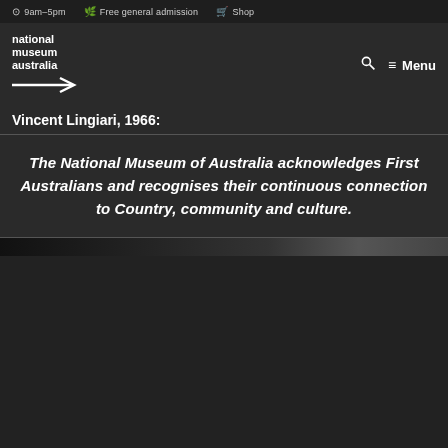9am–5pm   Free general admission   Shop
[Figure (logo): National Museum Australia logo with text 'national museum australia' and stylised arrow/chevron mark]
Vincent Lingiari, 1966:
The National Museum of Australia acknowledges First Australians and recognises their continuous connection to Country, community and culture.
[Figure (photo): Dark photographic image strip, partially visible at bottom of page]